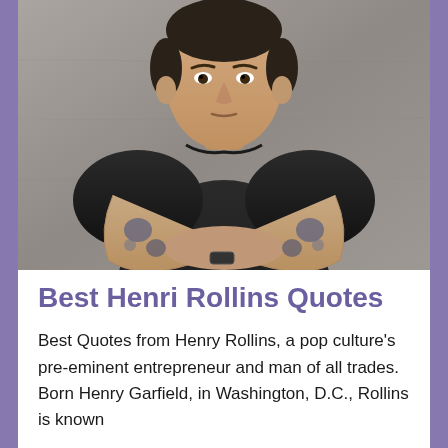[Figure (photo): A muscular man with tattoos on his arms, wearing a black t-shirt, standing with arms crossed against a gray concrete wall background. The man is Henry Rollins.]
Best Henri Rollins Quotes
Best Quotes from Henry Rollins, a pop culture's pre-eminent entrepreneur and man of all trades. Born Henry Garfield, in Washington, D.C., Rollins is known